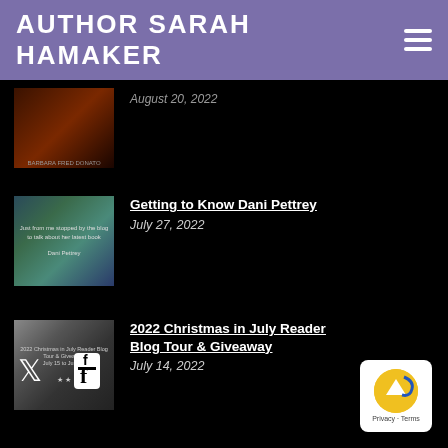AUTHOR SARAH HAMAKER
August 20, 2022
[Figure (photo): Dark book cover thumbnail, partially cropped]
[Figure (photo): Blue-green book cover thumbnail for Dani Pettrey post]
Getting to Know Dani Pettrey
July 27, 2022
[Figure (photo): Christmas in July blog tour thumbnail with silver ornaments]
2022 Christmas in July Reader Blog Tour & Giveaway
July 14, 2022
[Figure (illustration): Twitter bird icon]
[Figure (illustration): Facebook icon]
[Figure (illustration): Back to top button with gold circle and up arrow, Privacy and Terms text below]